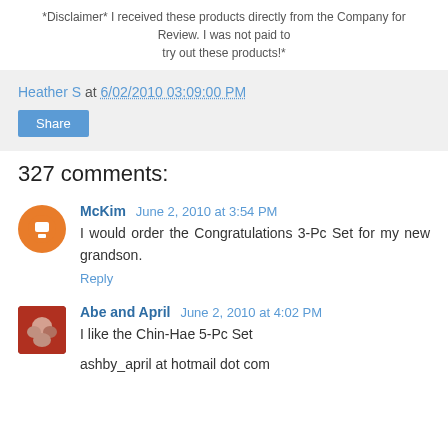*Disclaimer* I received these products directly from the Company for Review. I was not paid to try out these products!*
Heather S at 6/02/2010 03:09:00 PM
Share
327 comments:
McKim  June 2, 2010 at 3:54 PM
I would order the Congratulations 3-Pc Set for my new grandson.
Reply
Abe and April  June 2, 2010 at 4:02 PM
I like the Chin-Hae 5-Pc Set
ashby_april at hotmail dot com